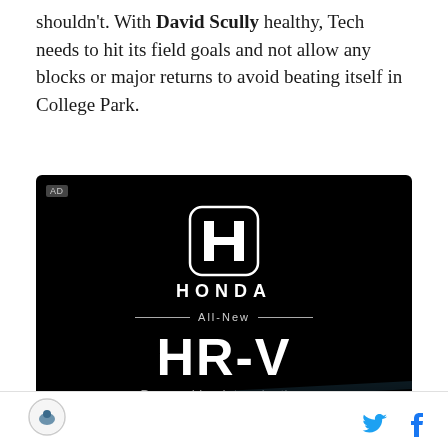shouldn't. With David Scully healthy, Tech needs to hit its field goals and not allow any blocks or major returns to avoid beating itself in College Park.
[Figure (illustration): Honda advertisement banner with black background showing the Honda logo (H emblem), the text 'HONDA', 'All-New' with decorative lines, 'HR-V' in large text, and 'Powered by determination.' tagline. A car is faintly visible in the lower portion.]
Site logo icon on the left; Twitter and Facebook social icons on the right